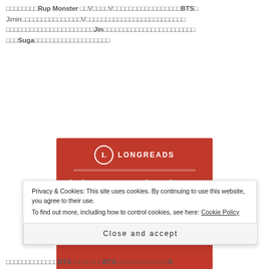□□□□□□□□Rup Monster □□V□□□□V□□□□□□□□□□□□□□□BTS□ Jimin□□□□□□□□□□□□□□□V□□□□□□□□□□□□□□□□□□□□□□□□□ □□□□□□□□□□□□□□□□□□□□□□Jin□□□□□□□□□□□□□□□□□□□□□□□ □□□Suga□□□□□□□□□□□□□□□□□□□
[Figure (advertisement): Longreads advertisement with red background. Shows L logo in circle, LONGREADS text, tagline 'The best stories on the web – ours, and everyone else's.' and a 'Start reading' button.]
Privacy & Cookies: This site uses cookies. By continuing to use this website, you agree to their use. To find out more, including how to control cookies, see here: Cookie Policy
Close and accept
□□□□□□□□□□□□□BTS□□□□□□□□BTS□□□□□□□□□□□□□S